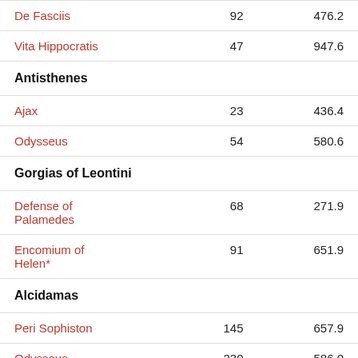| Work | N | Value |
| --- | --- | --- |
| De Fasciis | 92 | 476.2 |
| Vita Hippocratis | 47 | 947.6 |
| Antisthenes |  |  |
| Ajax | 23 | 436.4 |
| Odysseus | 54 | 580.6 |
| Gorgias of Leontini |  |  |
| Defense of Palamedes | 68 | 271.9 |
| Encomium of Helen* | 91 | 651.9 |
| Alcidamas |  |  |
| Peri Sophiston | 145 | 657.9 |
| Odysseus | 230 | 586.0 |
| Dio Chrysostom |  |  |